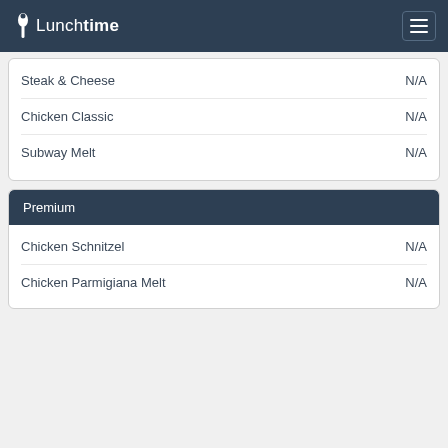Lunchtime
Steak & Cheese   N/A
Chicken Classic   N/A
Subway Melt   N/A
Premium
Chicken Schnitzel   N/A
Chicken Parmigiana Melt   N/A